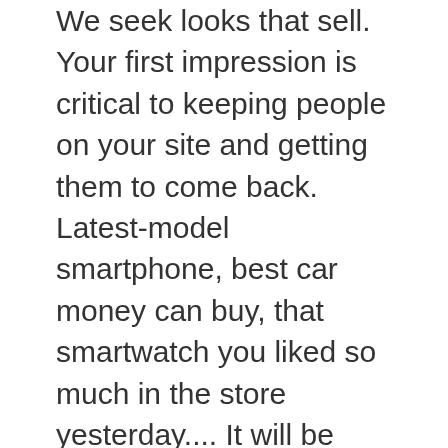We seek looks that sell. Your first impression is critical to keeping people on your site and getting them to come back. Latest-model smartphone, best car money can buy, that smartwatch you liked so much in the store yesterday.... It will be competitive, fast-loading and loved by the search engines. If there's anything to know about web design, it's that people want a beautiful website. Website builder platforms are a great way to start afresh. But you need to eat the outside first. People will love your website if your website loads quickly and your content is on the short side. Putting it simply â your website is the way people see you online. Yup, you heard that right! , it doesnâ t need to get a nose job or one of those savage diets. To make a lasting impression on a